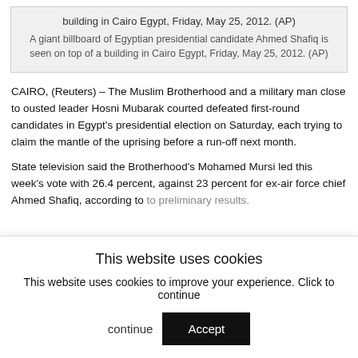building in Cairo Egypt, Friday, May 25, 2012. (AP) A giant billboard of Egyptian presidential candidate Ahmed Shafiq is seen on top of a building in Cairo Egypt, Friday, May 25, 2012. (AP)
CAIRO, (Reuters) – The Muslim Brotherhood and a military man close to ousted leader Hosni Mubarak courted defeated first-round candidates in Egypt's presidential election on Saturday, each trying to claim the mantle of the uprising before a run-off next month.
State television said the Brotherhood's Mohamed Mursi led this week's vote with 26.4 percent, against 23 percent for ex-air force chief Ahmed Shafiq, according to preliminary results.
This website uses cookies
This website uses cookies to improve your experience. Click to continue
Accept